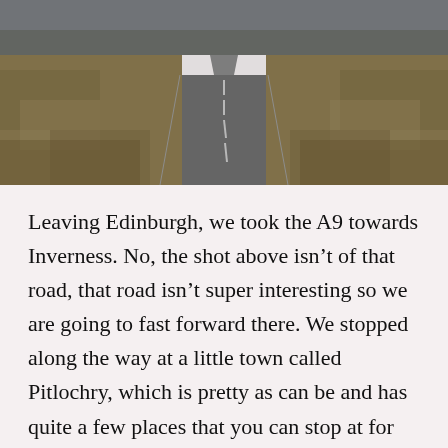[Figure (photo): A long straight road stretching into the distance, flanked by dry golden-brown moorland grasses on both sides, under an overcast sky. The road has white dashed center markings. The image is photographed from a low angle looking down the road.]
Leaving Edinburgh, we took the A9 towards Inverness. No, the shot above isn't of that road, that road isn't super interesting so we are going to fast forward there. We stopped along the way at a little town called Pitlochry, which is pretty as can be and has quite a few places that you can stop at for lunch.